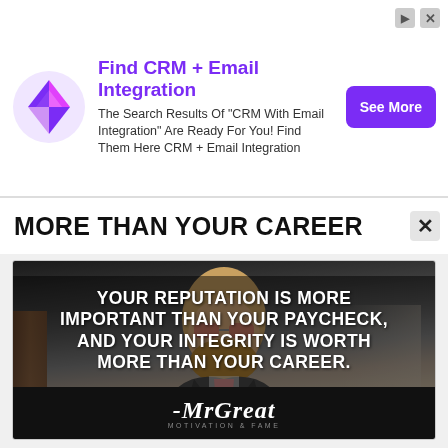[Figure (infographic): Advertisement banner with colorful diamond logo for CRM + Email Integration service, with See More button]
MORE THAN YOUR CAREER
[Figure (photo): Bearded stylish man in suit and sunglasses with motivational quote overlay: YOUR REPUTATION IS MORE IMPORTANT THAN YOUR PAYCHECK, AND YOUR INTEGRITY IS WORTH MORE THAN YOUR CAREER.]
MrGreat